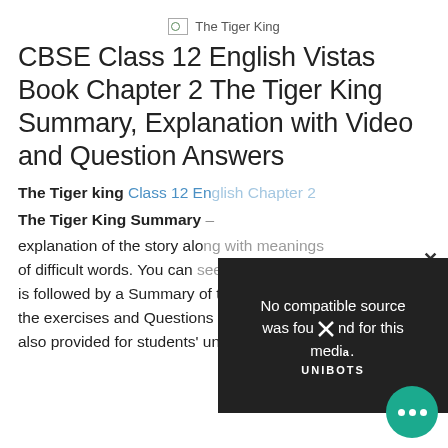[Figure (illustration): Broken image placeholder with text 'The Tiger King']
CBSE Class 12 English Vistas Book Chapter 2 The Tiger King Summary, Explanation with Video and Question Answers
The Tiger King Class 12 English Chapter 2
The Tiger King Summary – In this article, explanation of the story along with meanings of difficult words. You can see... is followed by a Summary of the lesson. All the exercises and Questions and Answers are also provided for students' understanding and
[Figure (screenshot): Video overlay showing 'No compatible source was found for this media.' with UNIBOTS branding and a close X button]
[Figure (illustration): Chat support bubble icon with three dots]